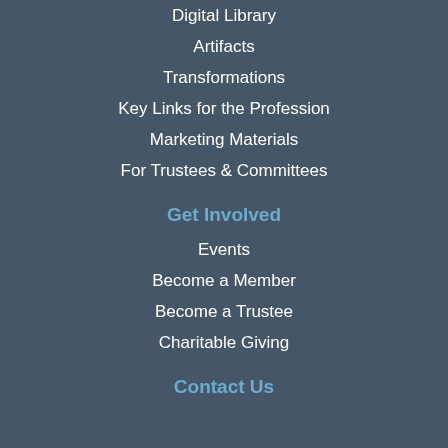Digital Library
Artifacts
Transformations
Key Links for the Profession
Marketing Materials
For Trustees & Committees
Get Involved
Events
Become a Member
Become a Trustee
Charitable Giving
Contact Us